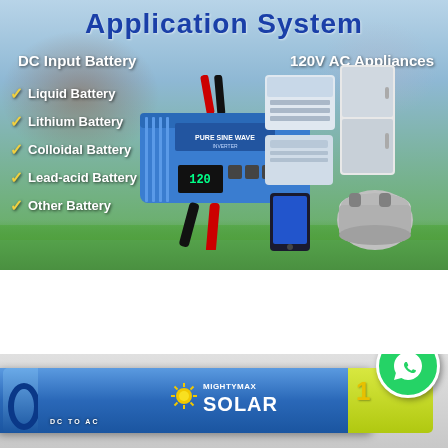Application System
DC  Input Battery
120V AC Appliances
Liquid Battery
Lithium Battery
Colloidal Battery
Lead-acid Battery
Other Battery
[Figure (infographic): Infographic showing a blue DC-to-AC power inverter device in the center, with DC Input Battery checklist on the left and 120V AC appliances (air conditioner, refrigerator, tablet, cooker) on the right. Background shows a green lawn and people silhouettes.]
[Figure (photo): Bottom product photo showing a blue Mighty Max Solar DC to AC power inverter with yellow label section, fan visible on left end, and a green WhatsApp icon badge on the right side.]